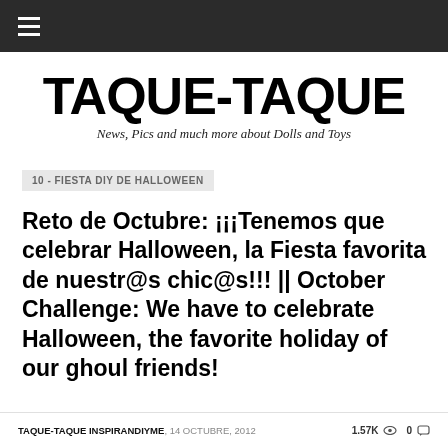TAQUE-TAQUE
News, Pics and much more about Dolls and Toys
10 - FIESTA DIY DE HALLOWEEN
Reto de Octubre: ¡¡¡Tenemos que celebrar Halloween, la Fiesta favorita de nuestr@s chic@s!!! || October Challenge: We have to celebrate Halloween, the favorite holiday of our ghoul friends!
TAQUE-TAQUE INSPIRANDIYME, 14 OCTUBRE, 2012 1.57K 0